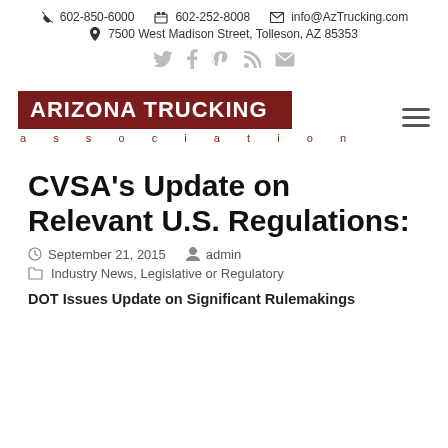602-850-6000   602-252-8008   info@AzTrucking.com   7500 West Madison Street, Tolleson, AZ 85353
[Figure (logo): Arizona Trucking Association logo — dark red rectangle with white bold text 'ARIZONA TRUCKING' and red spaced text 'a s s o c i a t i o n' below]
CVSA's Update on Relevant U.S. Regulations:
September 21, 2015   admin
Industry News, Legislative or Regulatory
DOT Issues Update on Significant Rulemakings